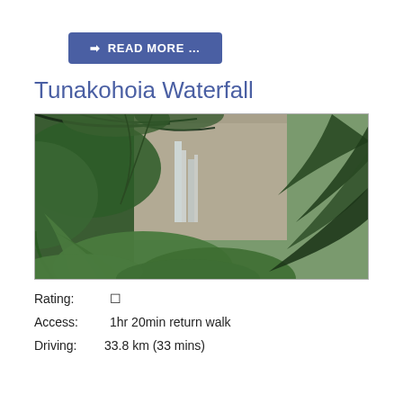READ MORE …
Tunakohoia Waterfall
[Figure (photo): Photograph of Tunakohoia Waterfall partially visible behind lush tropical ferns and vegetation, with rocky cliff face in background.]
Rating: ☆
Access: 1hr 20min return walk
Driving: 33.8 km (33 mins)